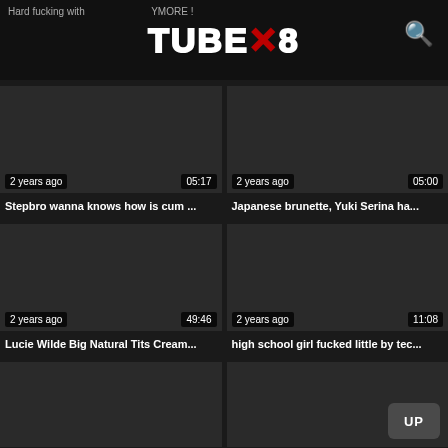Hard fucking with ... TUBEX8 ... ANYMORE !
Stepbro wanna knows how is cum ...
2 years ago | 05:17
Japanese brunette, Yuki Serina ha...
2 years ago | 05:00
Lucie Wilde Big Natural Tits Cream...
2 years ago | 49:46
high school girl fucked little by tec...
2 years ago | 11:08